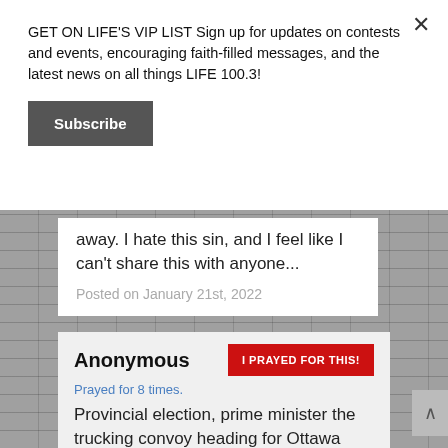GET ON LIFE'S VIP LIST Sign up for updates on contests and events, encouraging faith-filled messages, and the latest news on all things LIFE 100.3!
Subscribe
away. I hate this sin, and I feel like I can't share this with anyone...
Posted on January 21st, 2022
Anonymous
I PRAYED FOR THIS!
Prayed for 8 times.
Provincial election, prime minister the trucking convoy heading for Ottawa from the west coast, east coast and all the provinces,